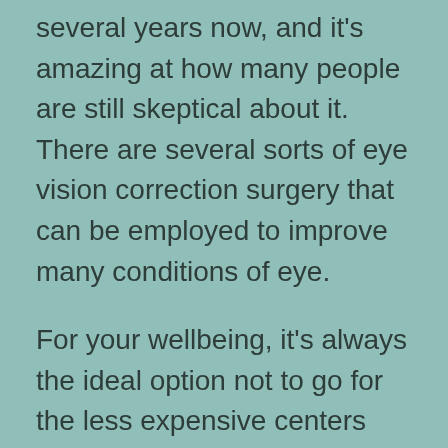several years now, and it's amazing at how many people are still skeptical about it. There are several sorts of eye vision correction surgery that can be employed to improve many conditions of eye.
For your wellbeing, it's always the ideal option not to go for the less expensive centers and the less costly surgeons. There are several flexible financing options and the price of laser correction proceeds to decline. Your pick of product is a wholly personal issue. Nearly all patients dislike glasses and contact lenses since they are costly and time consuming.